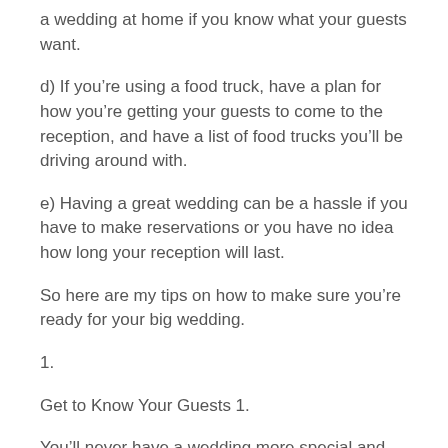a wedding at home if you know what your guests want.
d) If you’re using a food truck, have a plan for how you’re getting your guests to come to the reception, and have a list of food trucks you’ll be driving around with.
e) Having a great wedding can be a hassle if you have to make reservations or you have no idea how long your reception will last.
So here are my tips on how to make sure you’re ready for your big wedding.
1.
Get to Know Your Guests 1.
You’ll never have a wedding more special and exciting than your own.